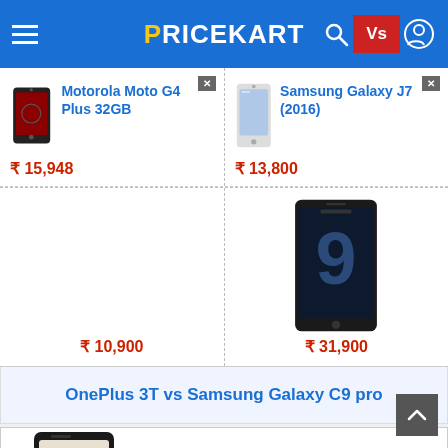PRICEKART
Motorola Moto G4 Plus 32GB
₹15,948
Samsung Galaxy J7 (2016)
₹13,800
₹10,900
₹31,900
OnePlus 3T vs Samsung Galaxy C9 pro
[Figure (screenshot): Pricekart mobile app comparison page showing Motorola Moto G4 Plus 32GB vs Samsung Galaxy J7 (2016) and another phone, with prices and product images]